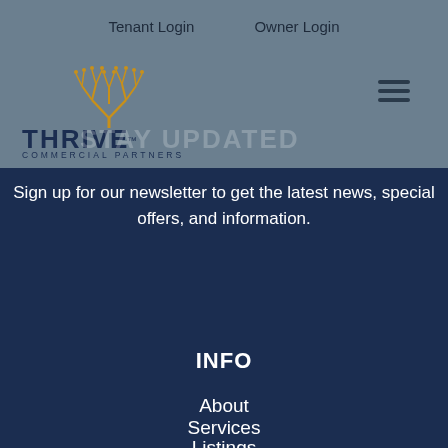Tenant Login   Owner Login
[Figure (logo): Thrive Commercial Partners logo — golden tree/antler illustration above THRIVE COMMERCIAL PARTNERS text]
Contact Us
STAY UPDATED
Sign up for our newsletter to get the latest news, special offers, and information.
SIGN UP
INFO
About
Services
Listings